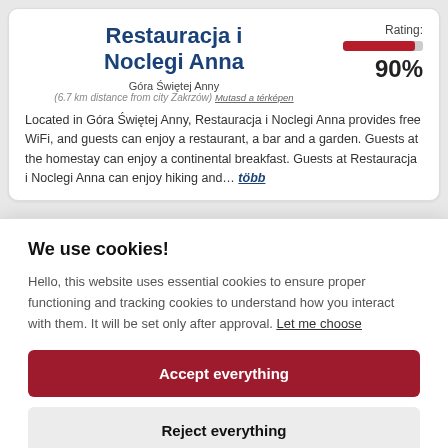Restauracja i Noclegi Anna
Góra Świętej Anny
(6.7 km distance from city Zakrzów) Mutasd a térképen
Rating: 90%
Located in Góra Świętej Anny, Restauracja i Noclegi Anna provides free WiFi, and guests can enjoy a restaurant, a bar and a garden. Guests at the homestay can enjoy a continental breakfast. Guests at Restauracja i Noclegi Anna can enjoy hiking and… több
We use cookies!
Hello, this website uses essential cookies to ensure proper functioning and tracking cookies to understand how you interact with them. It will be set only after approval. Let me choose
Accept everything
Reject everything
FILTERS
complimentary WiFi and private parking available on site. This holiday